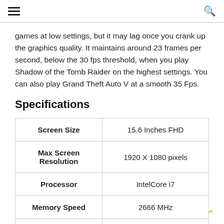≡  🔍
games at low settings, but it may lag once you crank up the graphics quality. It maintains around 23 frames per second, below the 30 fps threshold, when you play Shadow of the Tomb Raider on the highest settings. You can also play Grand Theft Auto V at a smooth 35 Fps.
Specifications
| Screen Size | 15.6 Inches FHD |
| --- | --- |
| Max Screen Resolution | 1920 X 1080 pixels |
| Processor | IntelCore i7 |
| Memory Speed | 2666 MHz |
| Hard Drive | 1 TB (7200RPM) |